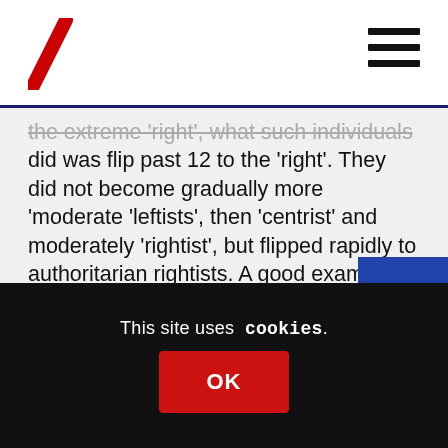[Figure (logo): Red diagonal slash/backslash logo mark]
the extreme 'right', what such individuals did was flip past 12 to the 'right'. They did not become gradually more 'moderate 'leftists', then 'centrist' and moderately 'rightist', but flipped rapidly to authoritarian rightists. A good example is the Revolutionary Communist Party with people like Claire Fox and her sister who are pundits for the right. However, ego plays a big part with some. If the party they are in or support disnae dae whit they tellt it, the flounce off in the huff and become hacks for the right.
This site uses cookies.
OK